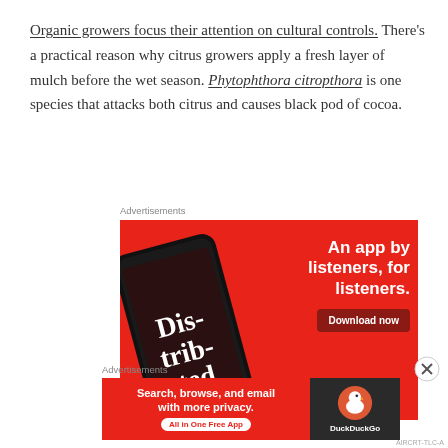Organic growers focus their attention on cultural controls. There's a practical reason why citrus growers apply a fresh layer of mulch before the wet season. Phytophthora citropthora is one species that attacks both citrus and causes black pod of cocoa.
Advertisements
[Figure (photo): Red advertisement banner for a podcast app featuring a smartphone with 'Dis-trib-uted' podcast art, headline 'An app by listeners, for listeners.' and 'Download now' button]
Advertisements
[Figure (photo): DuckDuckGo advertisement: 'Search, browse, and email with more privacy. All in One Free App' with DuckDuckGo duck logo on dark background]